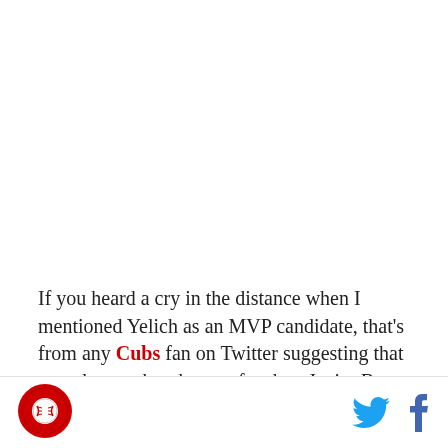If you heard a cry in the distance when I mentioned Yelich as an MVP candidate, that's from any Cubs fan on Twitter suggesting that any player other than perfect boy Javier Baez win the award. Granted, he has a pretty good case, and if not for him, the Cubs slight
[Figure (logo): Round red logo with white baseball graphic and text, bottom left corner]
[Figure (logo): Twitter bird icon (blue) and Facebook 'f' icon (blue), bottom right corner social sharing buttons]